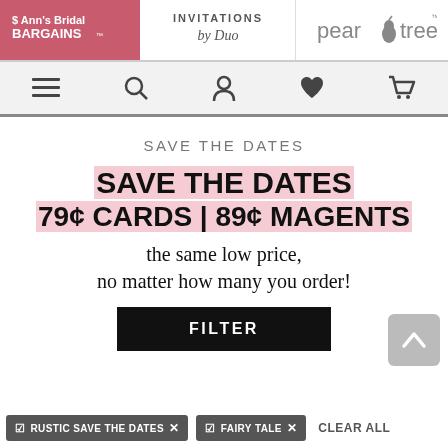Ann's Bridal BARGAINS | INVITATIONS by Duo | pear tree
[Figure (screenshot): Navigation bar with hamburger menu, search, user, heart, and cart icons]
SAVE THE DATES
SAVE THE DATES 79¢ CARDS | 89¢ MAGENTS
the same low price, no matter how many you order!
FILTER
✓ RUSTIC SAVE THE DATES ✕
✓ FAIRY TALE ✕
CLEAR ALL